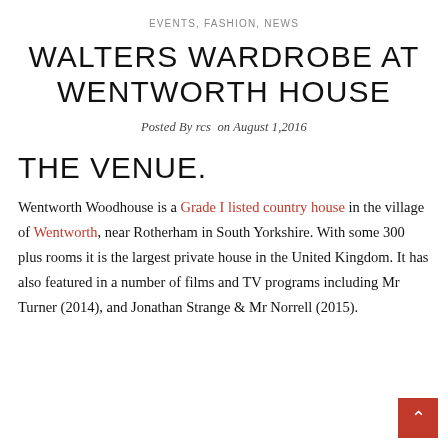EVENTS, FASHION, NEWS
WALTERS WARDROBE AT WENTWORTH HOUSE
Posted By rcs  on August 1,2016
THE VENUE.
Wentworth Woodhouse is a Grade I listed country house in the village of Wentworth, near Rotherham in South Yorkshire. With some 300 plus rooms it is the largest private house in the United Kingdom. It has also featured in a number of films and TV programs including Mr Turner (2014), and Jonathan Strange & Mr Norrell (2015).